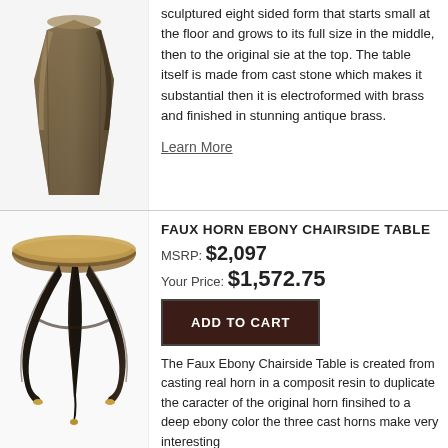[Figure (photo): Top portion of a bronze/antique brass sculptured table with eight-sided form, dark brown metallic finish]
sculptured eight sided form that starts small at the floor and grows to its full size in the middle, then to the original sie at the top. The table itself is made from cast stone which makes it substantial then it is electroformed with brass and finished in stunning antique brass.
Learn More
[Figure (photo): Faux Horn Ebony Chairside Table with round brass top and three curved dark horn-shaped legs with gold tips]
FAUX HORN EBONY CHAIRSIDE TABLE
MSRP: $2,097
Your Price: $1,572.75
ADD TO CART
The Faux Ebony Chairside Table is created from casting real horn in a composit resin to duplicate the caracter of the original horn finsihed to a deep ebony color the three cast horns make very interesting